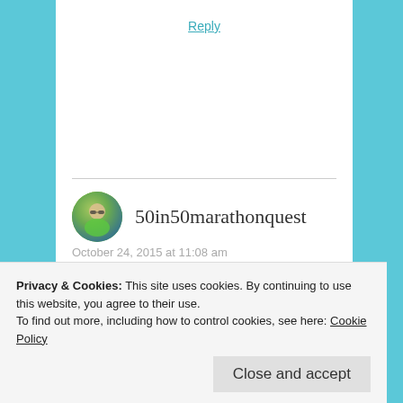Reply
[Figure (photo): Circular avatar photo of a person wearing sunglasses and a green/teal top, outdoors with trees in background]
50in50marathonquest
October 24, 2015 at 11:08 am
Great to hear that you made it to the race and are going to be able to participate…regardless of how it all goes, it is still a tremendous accomplishment…
Privacy & Cookies: This site uses cookies. By continuing to use this website, you agree to their use.
To find out more, including how to control cookies, see here: Cookie Policy
Close and accept